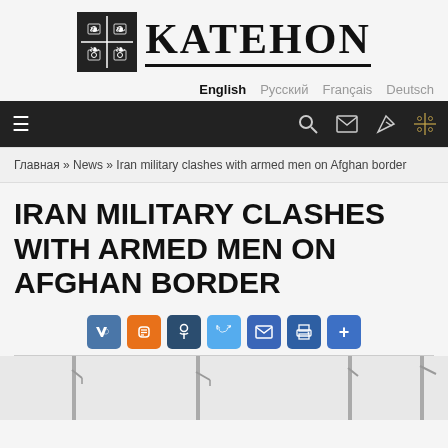KATEHON logo and navigation header
English  Русский  Français  Deutsch
Главная » News » Iran military clashes with armed men on Afghan border
IRAN MILITARY CLASHES WITH ARMED MEN ON AFGHAN BORDER
[Figure (other): Social share buttons: VK, Blogger, Odnoklassniki, Twitter, Email, Print, More]
[Figure (photo): Partial photo of a border area with metal poles/lamp posts visible at the bottom of the page]